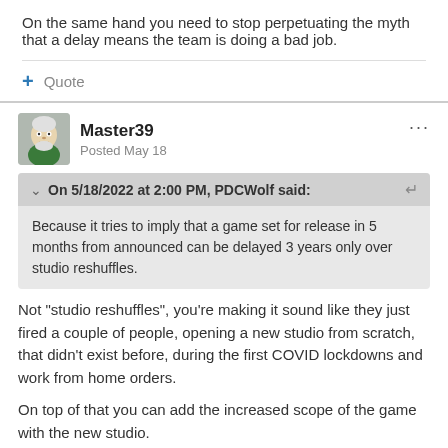On the same hand you need to stop perpetuating the myth that a delay means the team is doing a bad job.
+ Quote
Master39
Posted May 18
On 5/18/2022 at 2:00 PM, PDCWolf said:
Because it tries to imply that a game set for release in 5 months from announced can be delayed 3 years only over studio reshuffles.
Not "studio reshuffles", you're making it sound like they just fired a couple of people, opening a new studio from scratch, that didn't exist before, during the first COVID lockdowns and work from home orders.
On top of that you can add the increased scope of the game with the new studio.